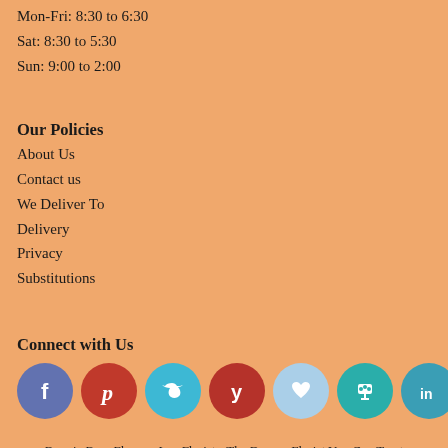Mon-Fri: 8:30 to 6:30
Sat: 8:30 to 5:30
Sun: 9:00 to 2:00
Our Policies
About Us
Contact us
We Deliver To
Delivery
Privacy
Substitutions
Connect with Us
[Figure (infographic): Row of 7 circular social media icons: Facebook (blue), Pinterest (red), Twitter (light blue), Yelp (dark red), Wishlist/heart (light blue), SlideShare (teal), LinkedIn (teal/blue)]
Bonnie Brae Flowers Inc. Florist - The Denver Florist You Can Trust
As a leading florist in Denver, Bonnie Brae Flowers Inc. Florist offers top quality